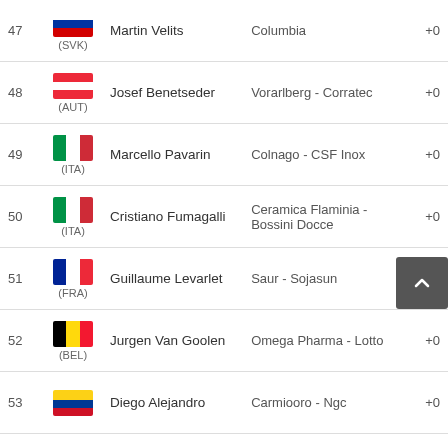| Rank | Rider | Team | Time |
| --- | --- | --- | --- |
| 47 | Martin Velits (SVK) | Columbia | +0 |
| 48 | Josef Benetseder (AUT) | Vorarlberg - Corratec | +0 |
| 49 | Marcello Pavarin (ITA) | Colnago - CSF Inox | +0 |
| 50 | Cristiano Fumagalli (ITA) | Ceramica Flaminia - Bossini Docce | +0 |
| 51 | Guillaume Levarlet (FRA) | Saur - Sojasun | +0 |
| 52 | Jurgen Van Goolen (BEL) | Omega Pharma - Lotto | +0 |
| 53 | Diego Alejandro | Carmiooro - Ngc | +0 |